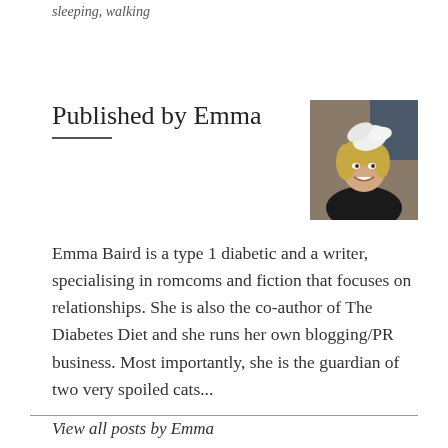sleeping, walking
Published by Emma
[Figure (photo): Portrait photo of Emma, a smiling woman wearing a white feathered hat accessory, dressed in dark clothing, photographed indoors.]
Emma Baird is a type 1 diabetic and a writer, specialising in romcoms and fiction that focuses on relationships. She is also the co-author of The Diabetes Diet and she runs her own blogging/PR business. Most importantly, she is the guardian of two very spoiled cats...
View all posts by Emma